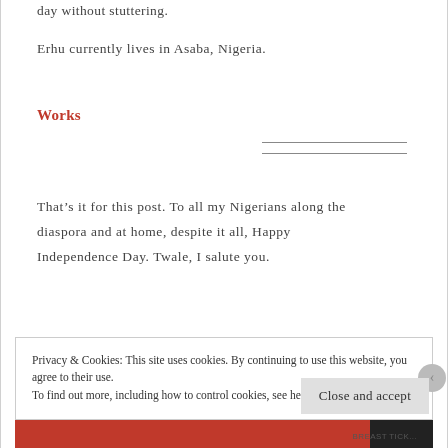day without stuttering.
Erhu currently lives in Asaba, Nigeria.
Works
That’s it for this post. To all my Nigerians along the diaspora and at home, despite it all, Happy Independence Day. Twale, I salute you.
Privacy & Cookies: This site uses cookies. By continuing to use this website, you agree to their use.
To find out more, including how to control cookies, see here: Cookie Policy